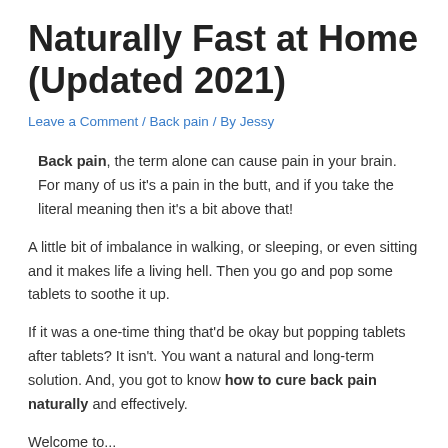Naturally Fast at Home (Updated 2021)
Leave a Comment / Back pain / By Jessy
Back pain, the term alone can cause pain in your brain. For many of us it's a pain in the butt, and if you take the literal meaning then it's a bit above that!
A little bit of imbalance in walking, or sleeping, or even sitting and it makes life a living hell. Then you go and pop some tablets to soothe it up.
If it was a one-time thing that'd be okay but popping tablets after tablets? It isn't. You want a natural and long-term solution. And, you got to know how to cure back pain naturally and effectively.
Welcome to...